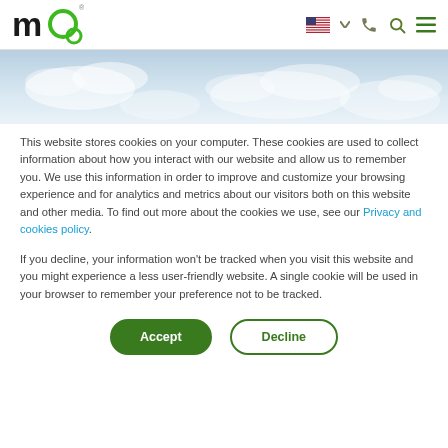moo logo, US flag, phone, search, menu icons
[Figure (photo): Sky and clouds banner image, light blue-grey tones]
This website stores cookies on your computer. These cookies are used to collect information about how you interact with our website and allow us to remember you. We use this information in order to improve and customize your browsing experience and for analytics and metrics about our visitors both on this website and other media. To find out more about the cookies we use, see our Privacy and cookies policy.
If you decline, your information won't be tracked when you visit this website and you might experience a less user-friendly website. A single cookie will be used in your browser to remember your preference not to be tracked.
Accept | Decline